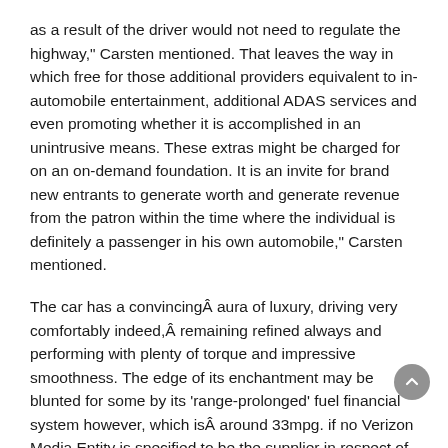as a result of the driver would not need to regulate the highway," Carsten mentioned. That leaves the way in which free for those additional providers equivalent to in-automobile entertainment, additional ADAS services and even promoting whether it is accomplished in an unintrusive means. These extras might be charged for on an on-demand foundation. It is an invite for brand new entrants to generate worth and generate revenue from the patron within the time where the individual is definitely a passenger in his own automobile," Carsten mentioned.
The car has a convincingÂ aura of luxury, driving very comfortably indeed,Â remaining refined always and performing with plenty of torque and impressive smoothness. The edge of its enchantment may be blunted for some by its 'range-prolonged' fuel financial system however, which isÂ around 33mpg. if no Verizon Media Entity is specified to be the supplier in respect of a specific ... Road more